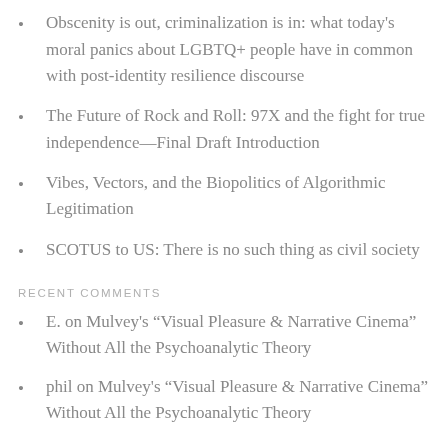humanities & social sciences)
Obscenity is out, criminalization is in: what today's moral panics about LGBTQ+ people have in common with post-identity resilience discourse
The Future of Rock and Roll: 97X and the fight for true independence—Final Draft Introduction
Vibes, Vectors, and the Biopolitics of Algorithmic Legitimation
SCOTUS to US: There is no such thing as civil society
RECENT COMMENTS
E. on Mulvey's “Visual Pleasure & Narrative Cinema” Without All the Psychoanalytic Theory
phil on Mulvey's “Visual Pleasure & Narrative Cinema” Without All the Psychoanalytic Theory